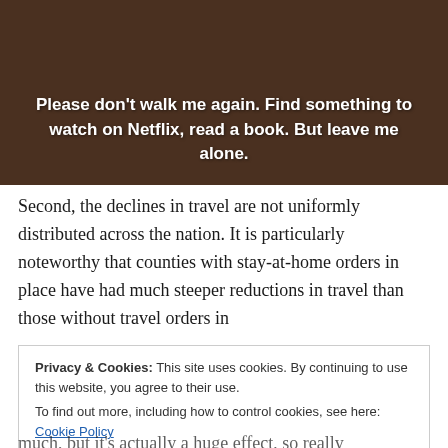[Figure (photo): Two dogs sleeping on a wooden floor, one appears to be a Rottweiler mix. Overlaid white text reads: Please don't walk me again. Find something to watch on Netflix, read a book. But leave me alone.]
Second, the declines in travel are not uniformly distributed across the nation. It is particularly noteworthy that counties with stay-at-home orders in place have had much steeper reductions in travel than those without travel orders in
Privacy & Cookies: This site uses cookies. By continuing to use this website, you agree to their use.
To find out more, including how to control cookies, see here: Cookie Policy
much, but it's actually a huge effect, so really